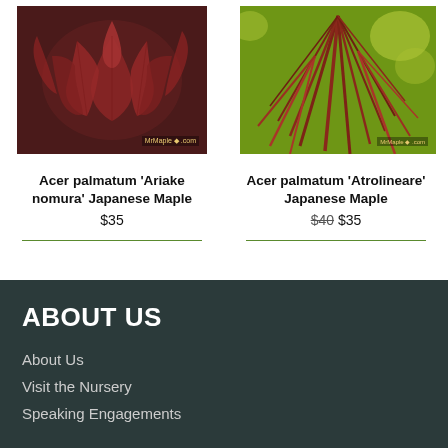[Figure (photo): Close-up photo of red Japanese maple leaves (Acer palmatum 'Ariake nomura') with MrMaple.com watermark]
[Figure (photo): Close-up photo of narrow red Japanese maple leaves (Acer palmatum 'Atrolineare') against yellow-green background with MrMaple.com watermark]
Acer palmatum 'Ariake nomura' Japanese Maple
$35
Acer palmatum 'Atrolineare' Japanese Maple
$40 $35
ABOUT US
About Us
Visit the Nursery
Speaking Engagements